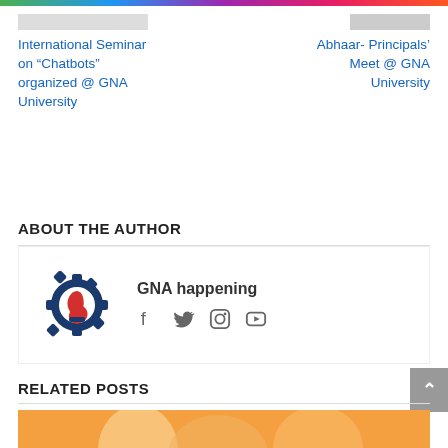International Seminar on “Chatbots” organized @ GNA University
Abhaar- Principals’ Meet @ GNA University
ABOUT THE AUTHOR
[Figure (logo): GNA happening logo - blue gear with red hand inside]
GNA happening
[Figure (infographic): Social media icons: Facebook, Twitter, Instagram, YouTube]
RELATED POSTS
[Figure (photo): Partial photo of people at an event - bottom of page]